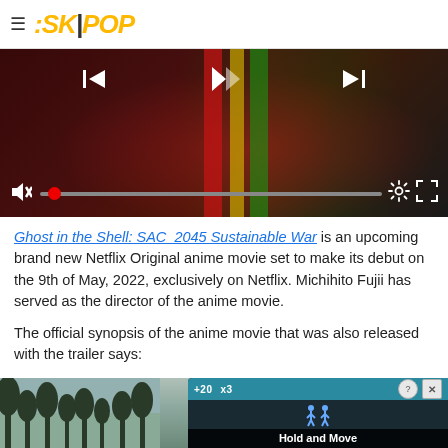SK POP (logo/navigation header)
[Figure (screenshot): Video player with dark background showing WWE championship belt visual with colored vertical stripes (red, yellow, green). Player controls include skip-back, play, skip-forward buttons at top and mute, progress bar with red dot, settings gear, and fullscreen icon at bottom.]
Ghost in the Shell: SAC_2045 Sustainable War is an upcoming brand new Netflix Original anime movie set to make its debut on the 9th of May, 2022, exclusively on Netflix. Michihito Fujii has served as the director of the anime movie.
The official synopsis of the anime movie that was also released with the trailer says:
[Figure (screenshot): Partial advertisement overlay showing a mobile app interface with 'Hold and Move' text, blue-toned background with tree silhouettes, and close/info buttons in top right corner.]